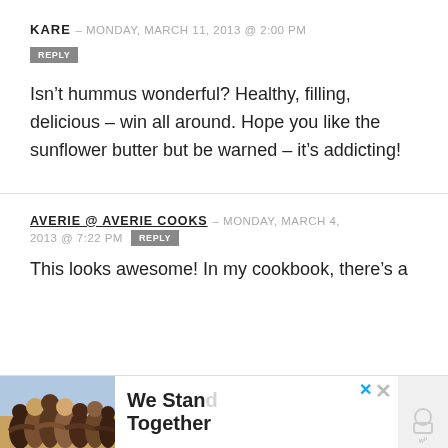KARE — MONDAY, MARCH 11, 2013 @ 2:00 PM
REPLY
Isn't hummus wonderful? Healthy, filling, delicious – win all around. Hope you like the sunflower butter but be warned – it's addicting!
AVERIE @ AVERIE COOKS — MONDAY, MARCH 4, 2013 @ 7:22 PM
REPLY
This looks awesome! In my cookbook, there's a
[Figure (photo): Advertisement banner showing people with arms around each other from behind, with text 'We Stand Together']